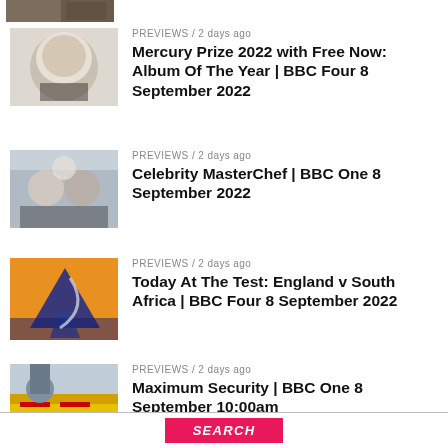[Figure (photo): Cropped top of an image, partially visible at top of page]
[Figure (photo): Woman with blonde hair, Mercury Prize related image]
PREVIEWS / 2 days ago
Mercury Prize 2022 with Free Now: Album Of The Year | BBC Four 8 September 2022
[Figure (photo): Two men in suits, MasterChef related image]
PREVIEWS / 2 days ago
Celebrity MasterChef | BBC One 8 September 2022
[Figure (photo): Orange background with cricket graphic]
PREVIEWS / 2 days ago
Today At The Test: England v South Africa | BBC Four 8 September 2022
[Figure (photo): Man in blue jacket with Security van]
PREVIEWS / 2 days ago
Maximum Security | BBC One 8 September 10:00am
SEARCH